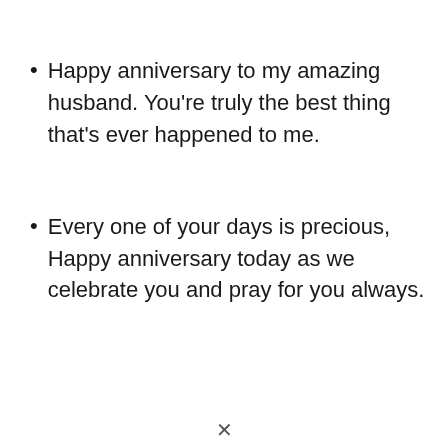Happy anniversary to my amazing husband. You're truly the best thing that's ever happened to me.
Every one of your days is precious, Happy anniversary today as we celebrate you and pray for you always.